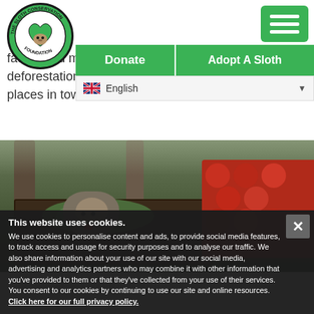[Figure (logo): Sloth Conservation Foundation circular logo — green circle with sloth heart illustration and text 'THE SLOTH CONSERVATION FOUNDATION' around the edge]
[Figure (illustration): Green hamburger menu button (three horizontal white lines on green background) in top-right corner]
fau... and mo... deforestation, SloCo is findin... places in town.
[Figure (screenshot): Navigation bar with 'Donate' and 'Adopt A Sloth' green buttons and English language selector with UK flag]
[Figure (photo): A sloth sitting among produce at an outdoor market, surrounded by vegetables and tomatoes in baskets]
This website uses cookies.
We use cookies to personalise content and ads, to provide social media features, to track access and usage for security purposes and to analyse our traffic. We also share information about your use of our site with our social media, advertising and analytics partners who may combine it with other information that you've provided to them or that they've collected from your use of their services. You consent to our cookies by continuing to use our site and online resources. Click here for our full privacy policy.